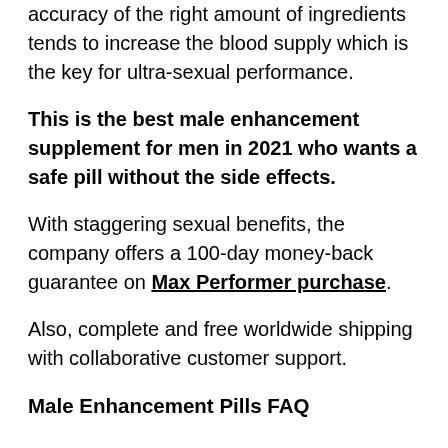accuracy of the right amount of ingredients tends to increase the blood supply which is the key for ultra-sexual performance.
This is the best male enhancement supplement for men in 2021 who wants a safe pill without the side effects.
With staggering sexual benefits, the company offers a 100-day money-back guarantee on Max Performer purchase.
Also, complete and free worldwide shipping with collaborative customer support.
Male Enhancement Pills FAQ